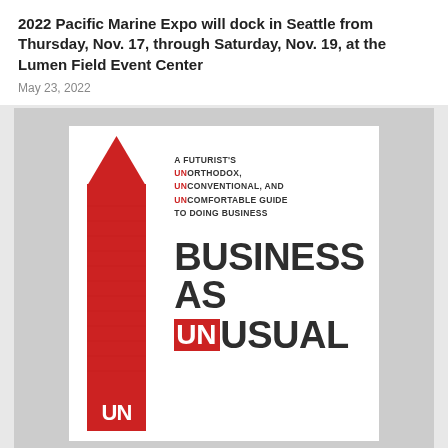2022 Pacific Marine Expo will dock in Seattle from Thursday, Nov. 17, through Saturday, Nov. 19, at the Lumen Field Event Center
May 23, 2022
[Figure (illustration): Book cover for 'Business As Unusual: A Futurist's Unorthodox, Unconventional, and Uncomfortable Guide to Doing Business'. Features a large red exclamation mark / marker shape on the left side, with the subtitle text in small caps on the right and the large bold title 'BUSINESS AS UNUSUAL' below, with 'UN' highlighted in white on red background.]